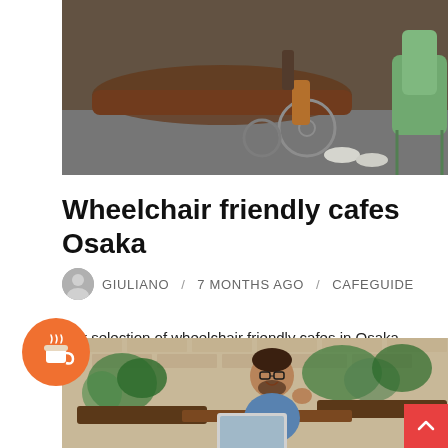[Figure (photo): Photo showing a wheelchair in a cafe setting with wooden furniture and green chairs]
Wheelchair friendly cafes Osaka
GIULIANO / 7 MONTHS AGO / CAFEGUIDE
Our selection of wheelchair friendly cafes in Osaka.
CONTINUE READING
[Figure (photo): Photo of a man with glasses and beard sitting in a cafe with plants, smiling at a laptop]